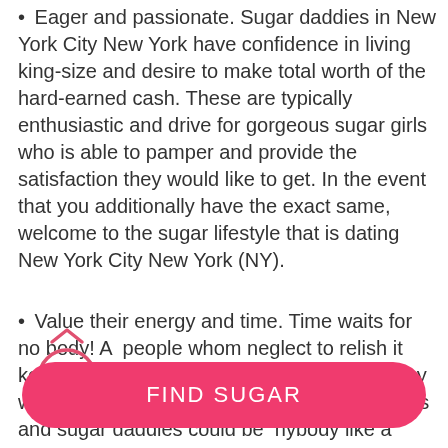Eager and passionate. Sugar daddies in New York City New York have confidence in living king-size and desire to make total worth of the hard-earned cash. These are typically enthusiastic and drive for gorgeous sugar girls who is able to pamper and provide the satisfaction they would like to get. In the event that you additionally have the exact same, welcome to the sugar lifestyle that is dating New York City New York (NY).
Value their energy and time. Time waits for no body! All people whom neglect to relish it keep regretting their entire life. Therefore, why wait and spoil your life with this. Sugar babies and sugar daddies could be anybody like a passionate business owner, solitary...
[Figure (infographic): A circular progress indicator showing 68% with a chevron/up-arrow icon above it, overlaid on the second bullet point text]
FIND SUGAR